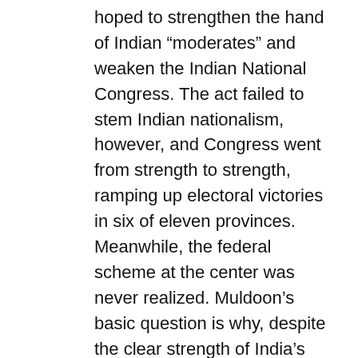hoped to strengthen the hand of Indian “moderates” and weaken the Indian National Congress. The act failed to stem Indian nationalism, however, and Congress went from strength to strength, ramping up electoral victories in six of eleven provinces. Meanwhile, the federal scheme at the center was never realized. Muldoon’s basic question is why, despite the clear strength of India’s nationalist movement, did the men who ruled India ever believe that the act would succeed in crippling Congress and maintaining British dominion in India?
The answer, Muldoon argues, lies in the colonial administration's continued adherence to an outdated and essentialized vision of India. Muldoon contends that the India of Rudyard Kipling was still very much alive in the minds of British administrators. Even in the 1930s officials continued to maintain that the Indian peasant had no interest in politics, that India was hopelessly